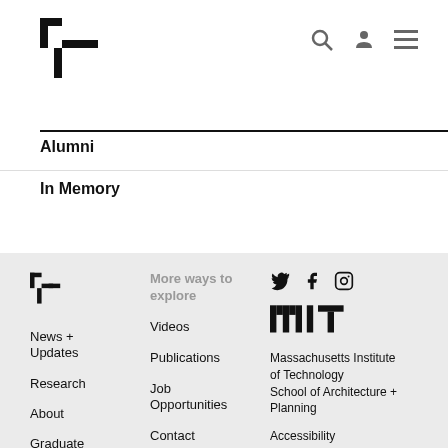[Figure (logo): MIT Media Lab logo - angular bracket/step shape in black]
[Figure (infographic): Header icons: search (magnifying glass), user (person silhouette), menu (hamburger lines)]
Alumni
In Memory
[Figure (logo): MIT Media Lab small logo in footer]
More ways to explore
News + Updates
Research
About
Graduate Program
People
Videos
Publications
Job Opportunities
Contact
[Figure (infographic): Social media icons: Twitter bird, Facebook f, Instagram camera]
[Figure (logo): MIT logo - stylized MIT text]
Massachusetts Institute of Technology School of Architecture + Planning
Accessibility
Donate to the Lab